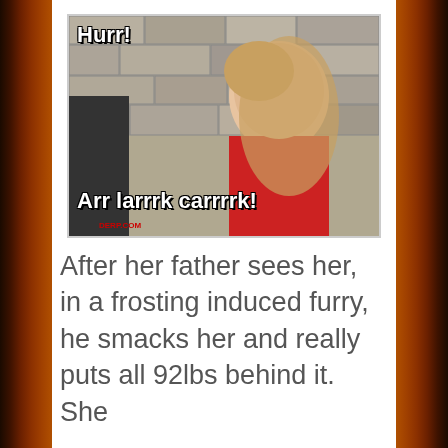[Figure (photo): Meme image of a young girl with frosting on her face, smiling. Text overlay reads 'Hurr!' at top left and 'Arr larrrk carrrrk!' at bottom. Watermark: DERP.COM]
After her father sees her, in a frosting induced furry, he smacks her and really puts all 92lbs behind it. She